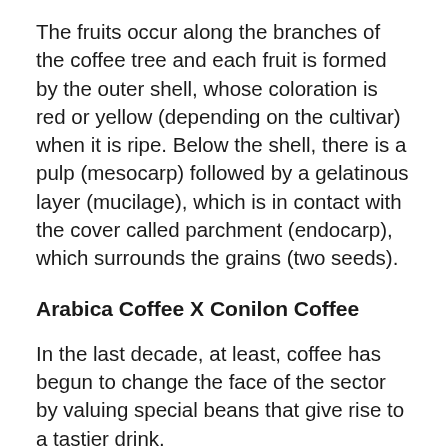The fruits occur along the branches of the coffee tree and each fruit is formed by the outer shell, whose coloration is red or yellow (depending on the cultivar) when it is ripe. Below the shell, there is a pulp (mesocarp) followed by a gelatinous layer (mucilage), which is in contact with the cover called parchment (endocarp), which surrounds the grains (two seeds).
Arabica Coffee X Conilon Coffee
In the last decade, at least, coffee has begun to change the face of the sector by valuing special beans that give rise to a tastier drink.
In this vigorous market, many labels have already emerged, the Arabica variety is...